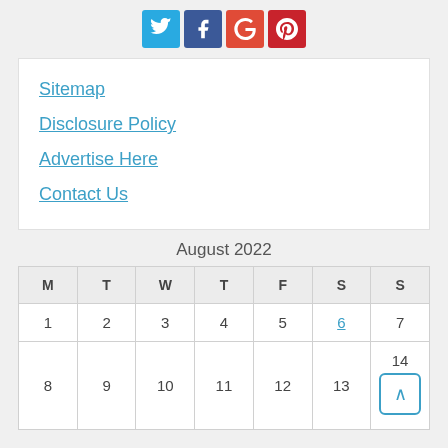[Figure (other): Social media icons: Twitter (blue), Facebook (dark blue), Google+ (red), Pinterest (dark red)]
Sitemap
Disclosure Policy
Advertise Here
Contact Us
| M | T | W | T | F | S | S |
| --- | --- | --- | --- | --- | --- | --- |
| 1 | 2 | 3 | 4 | 5 | 6 | 7 |
| 8 | 9 | 10 | 11 | 12 | 13 | 14 |